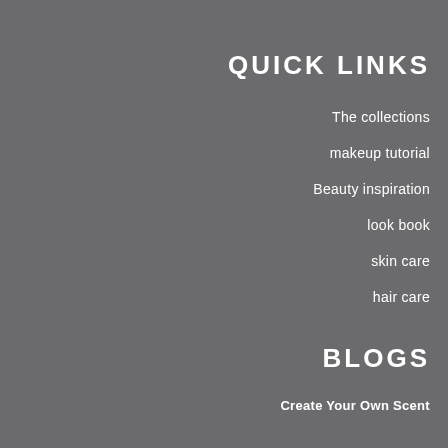QUICK LINKS
The collections
makeup tutorial
Beauty inspiration
look book
skin care
hair care
BLOGS
Create Your Own Scent